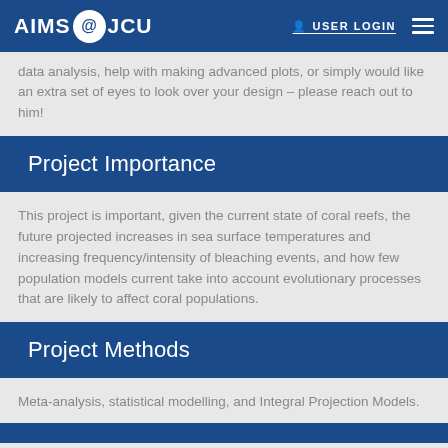AIMS @ JCU — USER LOGIN
data analysis, help with making advanced plots, or simply would like an extra set of eyes to look over your design – please reach out to him!
Project Importance
This project is important, given the current state of coral reefs, the future projected increases in sea surface temperatures and increasing frequency/intensity of bleaching events, and how few population models current take into account evolutionary processes that are likely to affect coral populations.
Project Methods
Meta-analysis, statistical modelling, and Integral Projection Models.